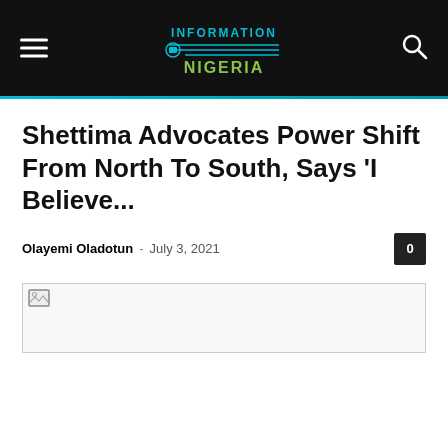Information Nigeria
Shettima Advocates Power Shift From North To South, Says ‘I Believe...
Olayemi Oladotun - July 3, 2021
[Figure (photo): Article header image placeholder (broken image icon shown)]